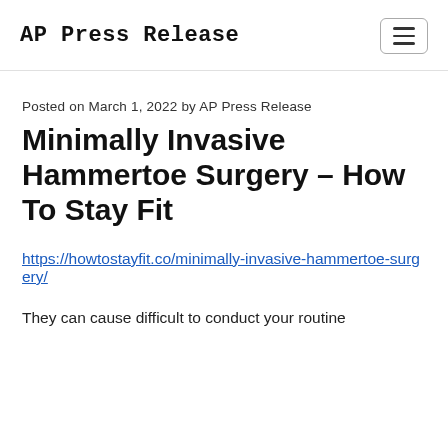AP Press Release
Posted on March 1, 2022 by AP Press Release
Minimally Invasive Hammertoe Surgery – How To Stay Fit
https://howtostayfit.co/minimally-invasive-hammertoe-surgery/
They can cause difficult to conduct your routine